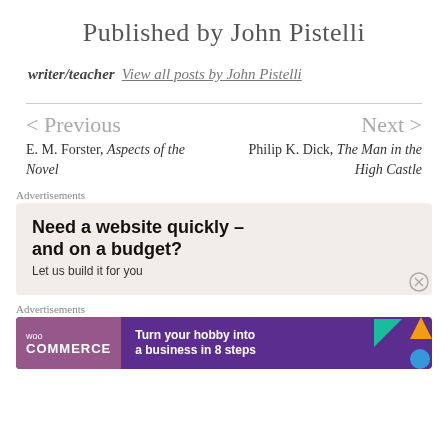Published by John Pistelli
writer/teacher  View all posts by John Pistelli
< Previous
Next >
E. M. Forster, Aspects of the Novel
Philip K. Dick, The Man in the High Castle
Advertisements
[Figure (screenshot): Advertisement banner: 'Need a website quickly – and on a budget? Let us build it for you']
Advertisements
[Figure (screenshot): WooCommerce advertisement banner: 'Turn your hobby into a business in 8 steps']